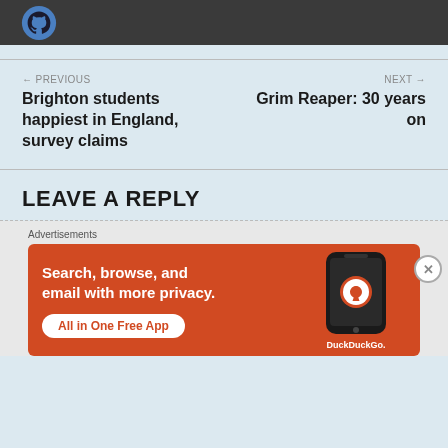[Figure (screenshot): Dark grey bar with partial GitHub logo icon visible at top of page]
← PREVIOUS
Brighton students happiest in England, survey claims
NEXT →
Grim Reaper: 30 years on
LEAVE A REPLY
[Figure (illustration): DuckDuckGo advertisement banner with orange background showing 'Search, browse, and email with more privacy. All in One Free App' with DuckDuckGo logo and phone graphic]